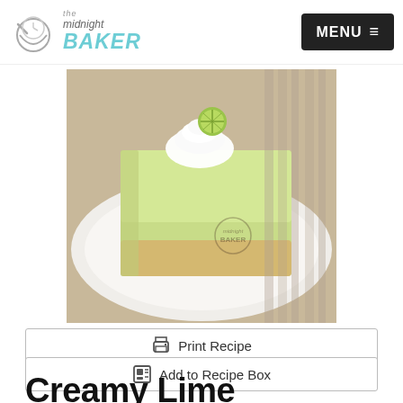The Midnight Baker | MENU
[Figure (photo): A slice of creamy lime macaroon bar on a white plate, topped with whipped cream and a lime slice. The bar has a green lime filling and a coconut macaroon crust. Watermark reads 'The Midnight Baker'.]
🖨 Print Recipe
📋 Add to Recipe Box
📌 Pin Recipe
Creamy Lime Macaroon Bars
This dessert marries key lime cheesecake with...